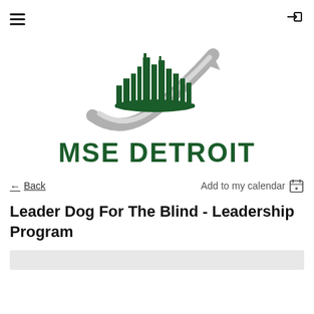[Figure (logo): MSE Detroit logo: dark green city skyline silhouette with a grey swooping arrow pointing upward to the right, and bold dark green text 'MSE DETROIT' below]
← Back
Add to my calendar 📅
Leader Dog For The Blind - Leadership Program